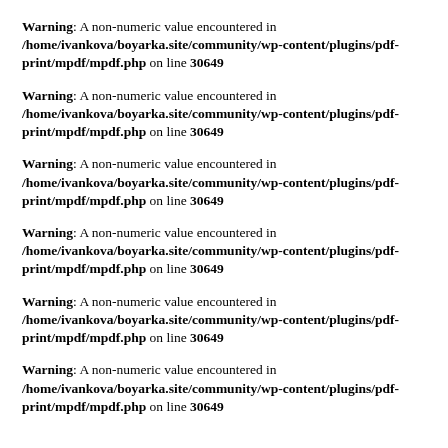Warning: A non-numeric value encountered in /home/ivankova/boyarka.site/community/wp-content/plugins/pdf-print/mpdf/mpdf.php on line 30649
Warning: A non-numeric value encountered in /home/ivankova/boyarka.site/community/wp-content/plugins/pdf-print/mpdf/mpdf.php on line 30649
Warning: A non-numeric value encountered in /home/ivankova/boyarka.site/community/wp-content/plugins/pdf-print/mpdf/mpdf.php on line 30649
Warning: A non-numeric value encountered in /home/ivankova/boyarka.site/community/wp-content/plugins/pdf-print/mpdf/mpdf.php on line 30649
Warning: A non-numeric value encountered in /home/ivankova/boyarka.site/community/wp-content/plugins/pdf-print/mpdf/mpdf.php on line 30649
Warning: A non-numeric value encountered in /home/ivankova/boyarka.site/community/wp-content/plugins/pdf-print/mpdf/mpdf.php on line 30649